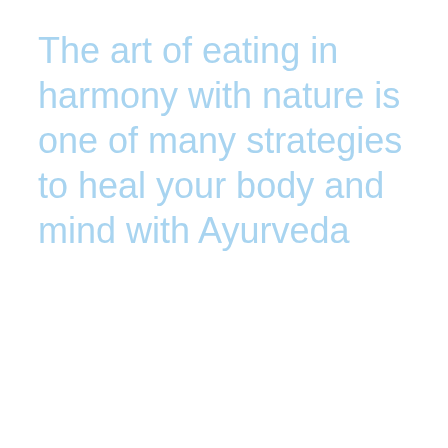The art of eating in harmony with nature is one of many strategies to heal your body and mind with Ayurveda